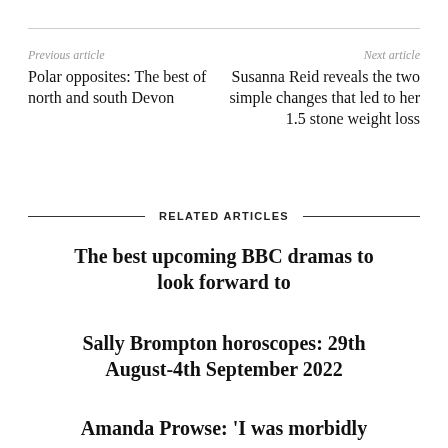Previous article
Next article
Polar opposites: The best of north and south Devon
Susanna Reid reveals the two simple changes that led to her 1.5 stone weight loss
RELATED ARTICLES
The best upcoming BBC dramas to look forward to
Sally Brompton horoscopes: 29th August-4th September 2022
Amanda Prowse: 'I was morbidly